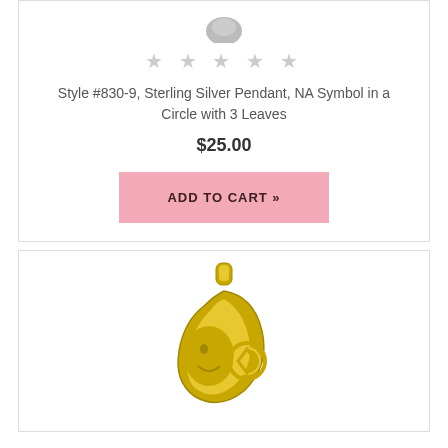[Figure (photo): Partial view of a sterling silver pendant at the top of the first product card]
★ ★ ★ ★ ★
Style #830-9, Sterling Silver Pendant, NA Symbol in a Circle with 3 Leaves
$25.00
ADD TO CART »
[Figure (photo): Gold pendant in the shape of a crescent moon face with NA symbol circle, shown in yellow gold]